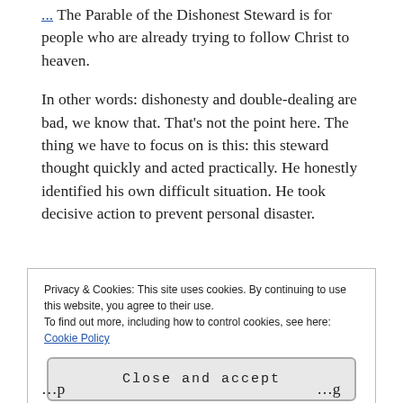The Parable of the Dishonest Steward is for people who are already trying to follow Christ to heaven.
In other words: dishonesty and double-dealing are bad, we know that. That's not the point here. The thing we have to focus on is this: this steward thought quickly and acted practically. He honestly identified his own difficult situation. He took decisive action to prevent personal disaster.
Privacy & Cookies: This site uses cookies. By continuing to use this website, you agree to their use.
To find out more, including how to control cookies, see here: Cookie Policy
Close and accept
...